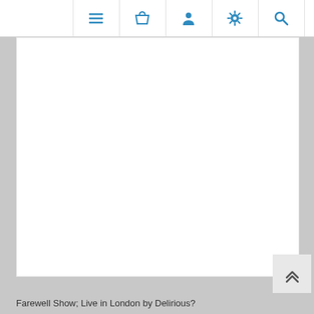Navigation bar with menu, basket, account, settings, and search icons
[Figure (screenshot): White content area placeholder with no visible product image loaded]
Farewell Show; Live in London by Delirious?